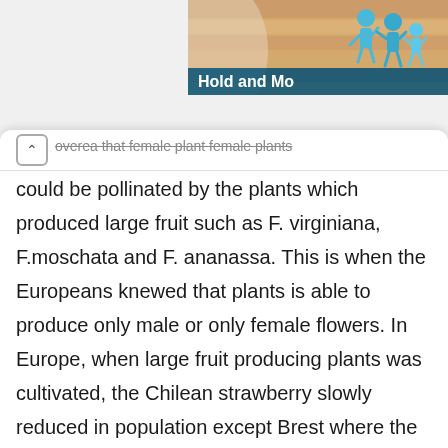[Figure (screenshot): Top banner area showing a partial illustration with blue human figures and text 'Hold and Mo...' on a colorful background]
overea that female plant female plants could be pollinated by the plants which produced large fruit such as F. virginiana, F.moschata and F. ananassa. This is when the Europeans knewed that plants is able to produce only male or only female flowers. In Europe, when large fruit producing plants was cultivated, the Chilean strawberry slowly reduced in population except Brest where the Chilean strawberry thrived. F. ananassa cause the decline of Chilean strawberry.